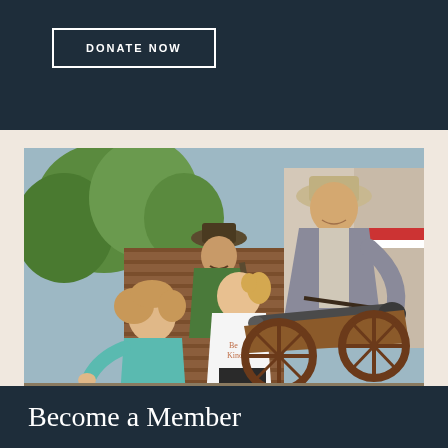DONATE NOW
[Figure (photo): Two young girls interacting with a historic cannon while a man in period costume (cowboy hat, gray jacket) leans over to show them. Another person in period costume stands in the background. Outdoor setting with trees and brick wall.]
Become a Member